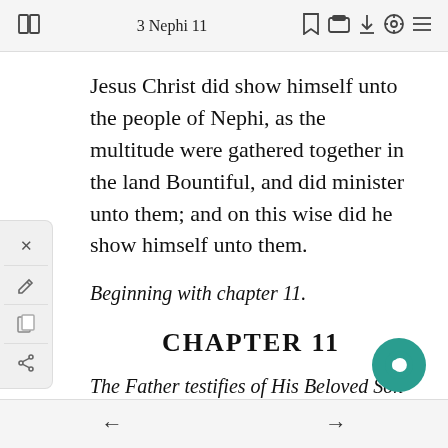3 Nephi 11
Jesus Christ did show himself unto the people of Nephi, as the multitude were gathered together in the land Bountiful, and did minister unto them; and on this wise did he show himself unto them.
Beginning with chapter 11.
CHAPTER 11
The Father testifies of His Beloved Son—